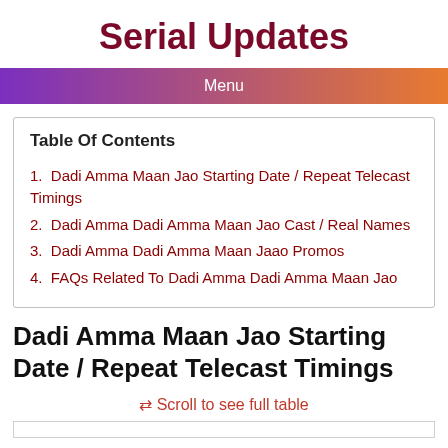Serial Updates
Menu
Table Of Contents
1.  Dadi Amma Maan Jao Starting Date / Repeat Telecast Timings
2.  Dadi Amma Dadi Amma Maan Jao Cast / Real Names
3.  Dadi Amma Dadi Amma Maan Jaao Promos
4.  FAQs Related To Dadi Amma Dadi Amma Maan Jao
Dadi Amma Maan Jao Starting Date / Repeat Telecast Timings
⇄ Scroll to see full table